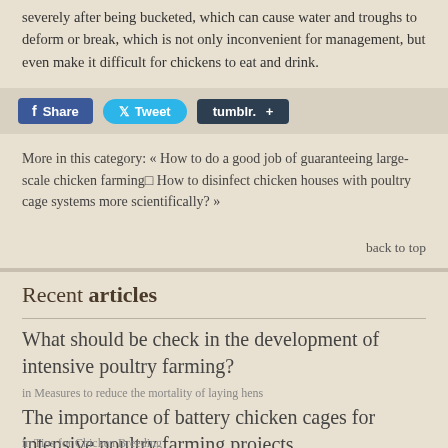severely after being bucketed, which can cause water and troughs to deform or break, which is not only inconvenient for management, but even make it difficult for chickens to eat and drink.
[Figure (screenshot): Social sharing buttons: Facebook Share (blue rounded rect), Twitter Tweet (cyan pill), Tumblr + (dark rounded rect)]
More in this category: « How to do a good job of guaranteeing large-scale chicken farming□ How to disinfect chicken houses with poultry cage systems more scientifically? »
back to top
Recent articles
What should be check in the development of intensive poultry farming?
in Measures to reduce the mortality of laying hens
The importance of battery chicken cages for intensive poultry farming projects
in Tips for Chicken Breeding